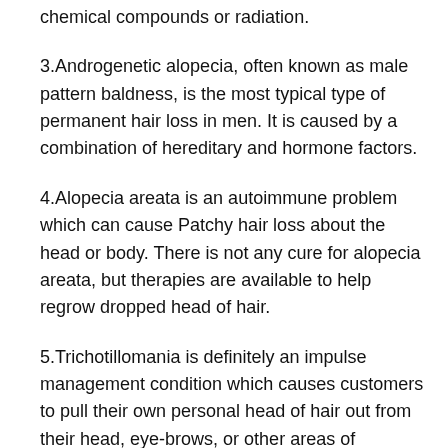chemical compounds or radiation.
3.Androgenetic alopecia, often known as male pattern baldness, is the most typical type of permanent hair loss in men. It is caused by a combination of hereditary and hormone factors.
4.Alopecia areata is an autoimmune problem which can cause Patchy hair loss about the head or body. There is not any cure for alopecia areata, but therapies are available to help regrow dropped head of hair.
5.Trichotillomania is definitely an impulse management condition which causes customers to pull their own personal head of hair out from their head, eye-brows, or other areas of themselves.